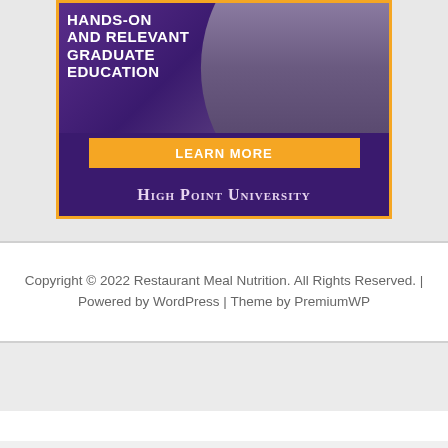[Figure (advertisement): High Point University advertisement banner with purple background, orange border, photo of two people (student and professor in white coat), bold white text 'HANDS-ON AND RELEVANT GRADUATE EDUCATION', orange 'LEARN MORE' button, and 'High Point University' text at bottom in small caps serif font.]
Copyright © 2022 Restaurant Meal Nutrition. All Rights Reserved. | Powered by WordPress | Theme by PremiumWP